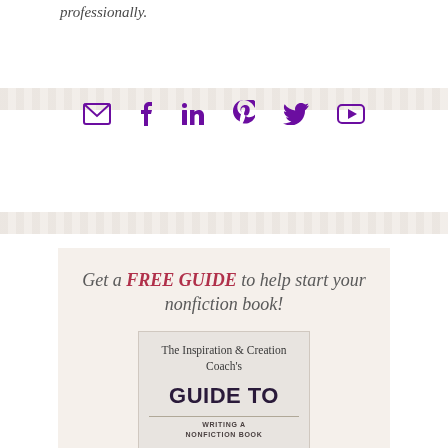professionally.
[Figure (infographic): Social media icons row: email, facebook, linkedin, pinterest, twitter, youtube — all in purple]
[Figure (illustration): Book cover for 'The Inspiration & Creation Coach's Guide to Writing a Nonfiction Book' with script and bold typography on a light gray background]
Get a FREE GUIDE to help start your nonfiction book!